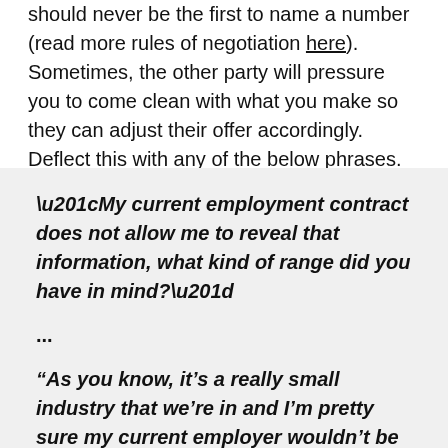should never be the first to name a number (read more rules of negotiation here). Sometimes, the other party will pressure you to come clean with what you make so they can adjust their offer accordingly. Deflect this with any of the below phrases.
“My current employment contract does not allow me to reveal that information, what kind of range did you have in mind?”
...
“As you know, it’s a really small industry that we’re in and I’m pretty sure my current employer wouldn’t be too happy if I was revealing what they’re paying over there, so let me ask you what kind of